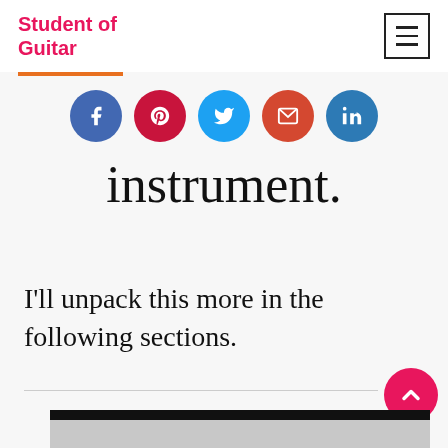Student of Guitar
[Figure (other): Social share buttons: Facebook, Pinterest, Twitter, Email, LinkedIn — circular colored icons]
instrument.
I'll unpack this more in the following sections.
[Figure (other): Bottom of page with a dark header bar and gray image area]